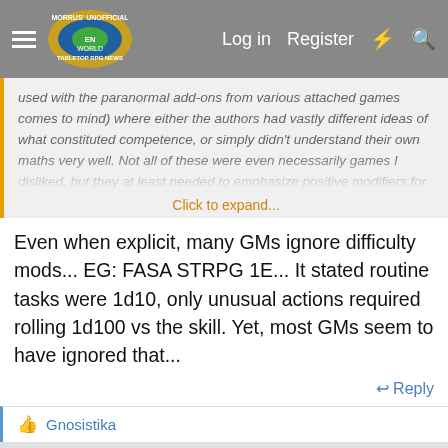Morrus' Unofficial Tabletop RPG News — Log in | Register
used with the paranormal add-ons from various attached games comes to mind) where either the authors had vastly different ideas of what constituted competence, or simply didn't understand their own maths very well. Not all of these were even necessarily games I disliked, but they at least needed to emphasize positive modifiers for
Click to expand...
Even when explicit, many GMs ignore difficulty mods... EG: FASA STRPG 1E... It stated routine tasks were 1d10, only unusual actions required rolling 1d100 vs the skill. Yet, most GMs seem to have ignored that...
Reply
Gnosistika
TerraDave
5ever, or until 2024